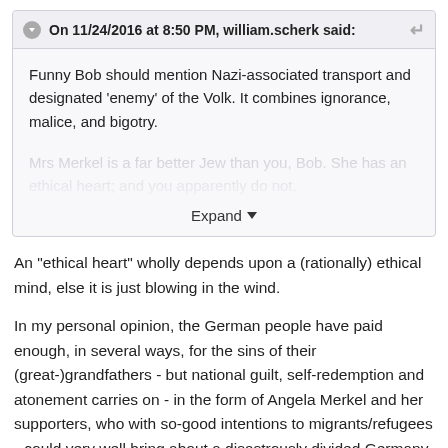On 11/24/2016 at 8:50 PM, william.scherk said:
Funny Bob should mention Nazi-associated transport and designated 'enemy' of the Volk.  It combines ignorance, malice, and bigotry.
Mrs Merkel is a far better Jew than you, Bob.  She has an ethical heart; and you apparently do not.
Expand
An "ethical heart" wholly depends upon a (rationally) ethical mind, else it is just blowing in the wind.
In my personal opinion, the German people have paid enough, in several ways, for the sins of their (great-)grandfathers - but national guilt, self-redemption and atonement carries on - in the form of Angela Merkel and her supporters, who with so-good intentions to migrants/refugees --could very well bring about a disastrously divided Germany. The road to hell, paved with mea culpas. "The good will" (Kant) shall somehow, magically, deliver